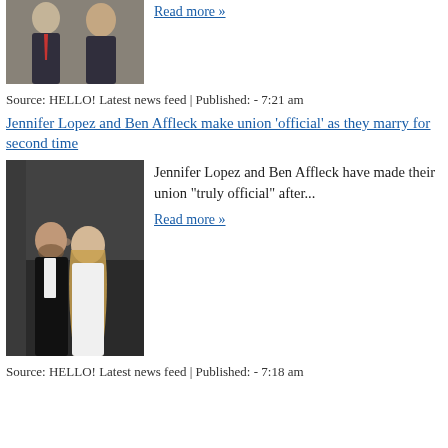[Figure (photo): Two men in suits, one with red tie, posed together — cropped at top of page]
Read more »
Source: HELLO! Latest news feed | Published: - 7:21 am
Jennifer Lopez and Ben Affleck make union 'official' as they marry for second time
[Figure (photo): Jennifer Lopez and Ben Affleck at a formal event, she in white dress, he in tuxedo, he is kissing her cheek]
Jennifer Lopez and Ben Affleck have made their union "truly official" after...
Read more »
Source: HELLO! Latest news feed | Published: - 7:18 am